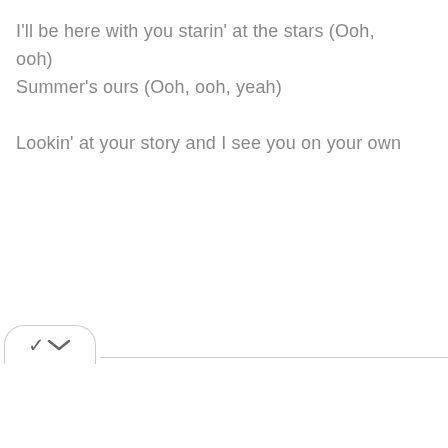I'll be here with you starin' at the stars (Ooh, ooh)
Summer's ours (Ooh, ooh, yeah)

Lookin' at your story and I see you on your own
[Figure (other): A chevron/expand button (down arrow in a rounded rectangle) with a horizontal divider line to its right, at the bottom of the page.]